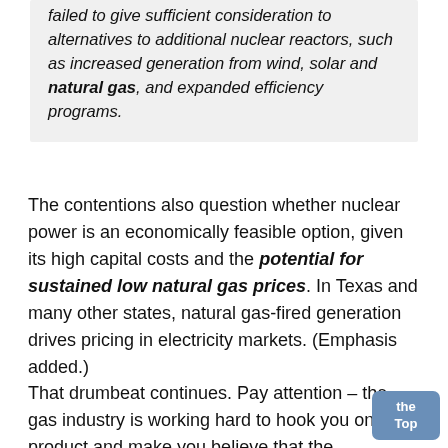failed to give sufficient consideration to alternatives to additional nuclear reactors, such as increased generation from wind, solar and natural gas, and expanded efficiency programs.
The contentions also question whether nuclear power is an economically feasible option, given its high capital costs and the potential for sustained low natural gas prices. In Texas and many other states, natural gas-fired generation drives pricing in electricity markets. (Emphasis added.)
That drumbeat continues. Pay attention – the gas industry is working hard to hook you on their product and make you believe that the